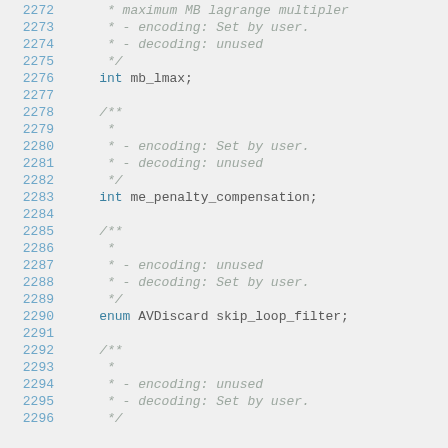[Figure (screenshot): Source code screenshot showing C/C++ code with line numbers 2272-2296, displaying struct field documentation comments and declarations including mb_lmax, me_penalty_compensation, skip_loop_filter fields with doxygen-style comments]